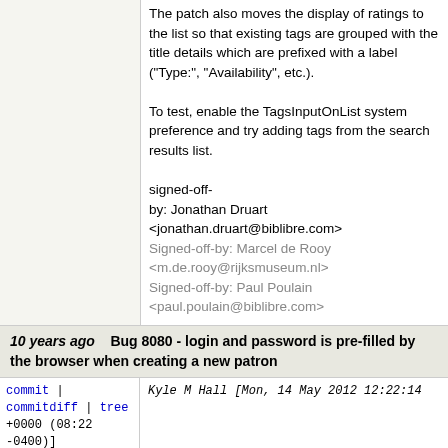The patch also moves the display of ratings to the list so that existing tags are grouped with the title details which are prefixed with a label ("Type:", "Availability", etc.).

To test, enable the TagsInputOnList system preference and try adding tags from the search results list.

signed-off-by: Jonathan Druart <jonathan.druart@biblibre.com>
Signed-off-by: Marcel de Rooy <m.de.rooy@rijksmuseum.nl>
Signed-off-by: Paul Poulain <paul.poulain@biblibre.com>
10 years ago   Bug 8080 - login and password is pre-filled by the browser when creating a new patron
commit | commitdiff | tree   Kyle M Hall [Mon, 14 May 2012 12:22:14 +0000 (08:22 -0400)]
Bug 8080 - login and password is pre-filled by the browser when creating a new patron

When creating a new patron, if you have chosen to login and password for you, the login and password fields are filled with them, leading to a systematic error "the passwords" the second password field was not filled. These fie